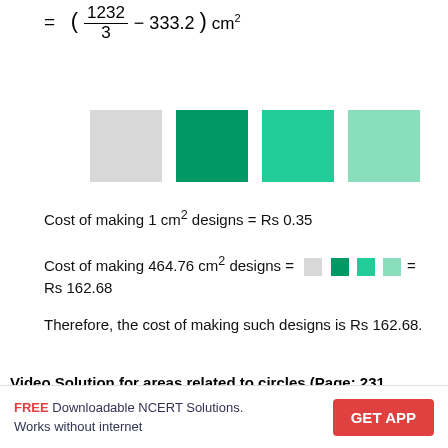[Figure (illustration): Four color swatches: light gray, dark green, medium green, light green]
Cost of making 1 cm² designs = Rs 0.35
Cost of making 464.76 cm² designs = [swatches] = Rs 162.68
Therefore, the cost of making such designs is Rs 162.68.
Video Solution for areas related to circles (Page: 231 , Q.No.: 13)
[Figure (screenshot): Video thumbnail showing math problem text in pink on dark background with a circular diagram on the right]
FREE Downloadable NCERT Solutions. Works without internet | GET APP